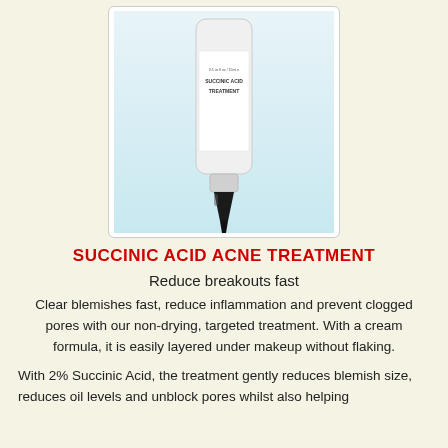[Figure (photo): Product photo of a white tube of Succinic Acid Treatment with a black pointed tip applicator, on a light blue/white background]
SUCCINIC ACID ACNE TREATMENT
Reduce breakouts fast
Clear blemishes fast, reduce inflammation and prevent clogged pores with our non-drying, targeted treatment. With a cream formula, it is easily layered under makeup without flaking.
With 2% Succinic Acid, the treatment gently reduces blemish size, reduces oil levels and unblock pores whilst also helping